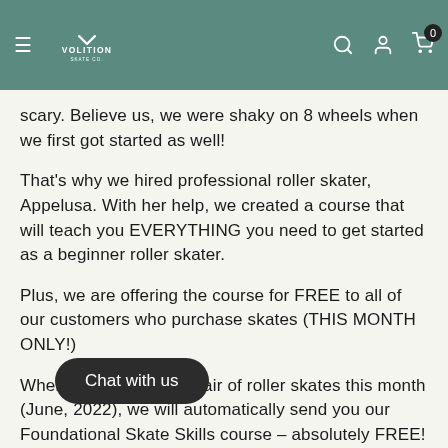Volition Skate Co.
scary. Believe us, we were shaky on 8 wheels when we first got started as well!
That's why we hired professional roller skater, Appelusa. With her help, we created a course that will teach you EVERYTHING you need to get started as a beginner roller skater.
Plus, we are offering the course for FREE to all of our customers who purchase skates (THIS MONTH ONLY!)
When you purchase a pair of roller skates this month (June, 2022), we will automatically send you our Foundational Skate Skills course – absolutely FREE!
With along with your new skates you'll also receive amazing customer service (check out our awesome reviews!), and a quick course covering